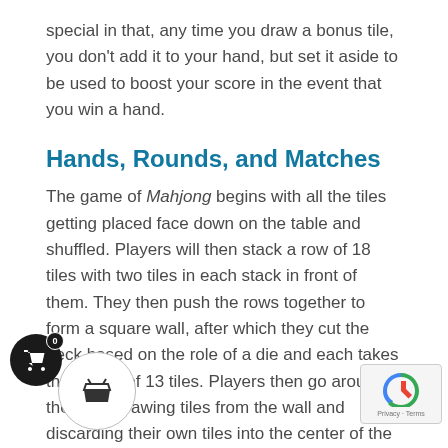special in that, any time you draw a bonus tile, you don't add it to your hand, but set it aside to be used to boost your score in the event that you win a hand.
Hands, Rounds, and Matches
The game of Mahjong begins with all the tiles getting placed face down on the table and shuffled. Players will then stack a row of 18 tiles with two tiles in each stack in front of them. They then push the rows together to form a square wall, after which they cut the deck based on the role of a die and each takes their hand of 13 tiles. Players then go around the table drawing tiles from the wall and discarding their own tiles into the center of the